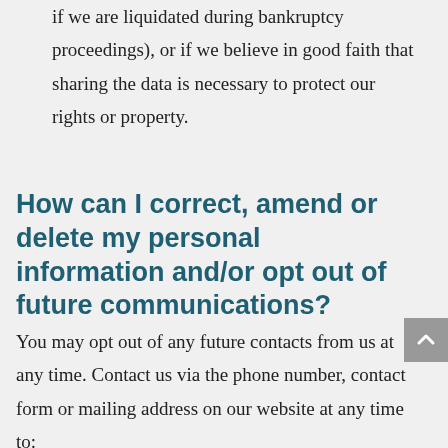if we are liquidated during bankruptcy proceedings), or if we believe in good faith that sharing the data is necessary to protect our rights or property.
How can I correct, amend or delete my personal information and/or opt out of future communications?
You may opt out of any future contacts from us at any time. Contact us via the phone number, contact form or mailing address on our website at any time to: